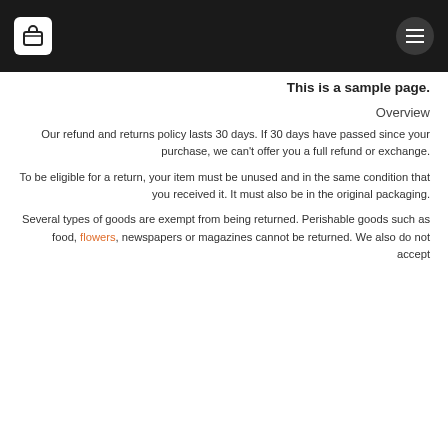[Shopping cart icon] [Menu icon]
This is a sample page.
Overview
Our refund and returns policy lasts 30 days. If 30 days have passed since your purchase, we can't offer you a full refund or exchange.
To be eligible for a return, your item must be unused and in the same condition that you received it. It must also be in the original packaging.
Several types of goods are exempt from being returned. Perishable goods such as food, flowers, newspapers or magazines cannot be returned. We also do not accept